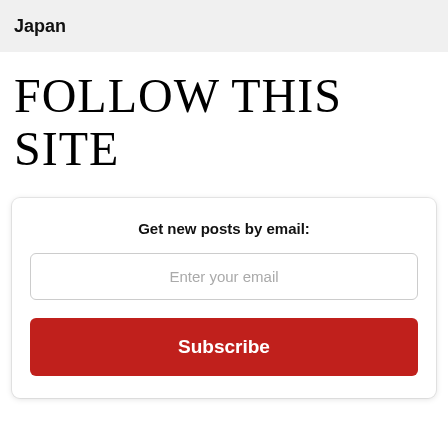Japan
FOLLOW THIS SITE
Get new posts by email:
Enter your email
Subscribe